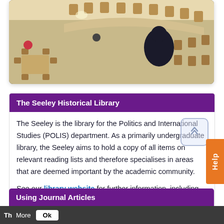[Figure (photo): Overhead/bird's-eye view of a library reading room with wooden tables and chairs, and a few people seated]
The Seeley Historical Library
The Seeley is the library for the Politics and International Studies (POLIS) department. As a primarily undergraduate library, the Seeley aims to hold a copy of all items on relevant reading lists and therefore specialises in areas that are deemed important by the academic community.
See our library website for further information, including visiting the library and opening times.
Using Journal Articles